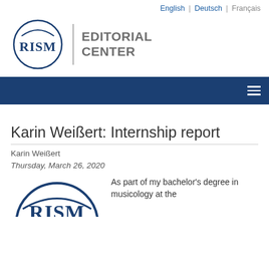English | Deutsch | Français
[Figure (logo): RISM Editorial Center logo with circular emblem and text]
Karin Weißert: Internship report
Karin Weißert
Thursday, March 26, 2020
[Figure (logo): RISM logo (partial, bottom of page)]
As part of my bachelor's degree in musicology at the